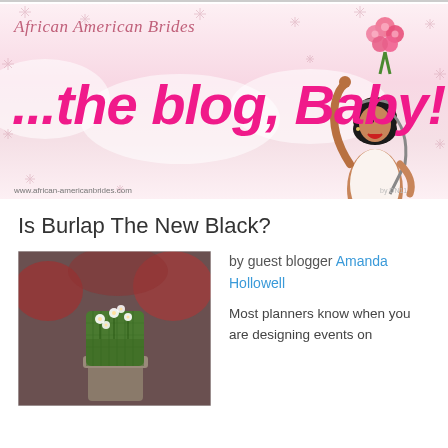[Figure (illustration): African American Brides blog banner with pink script text reading 'African American Brides', large hot-pink italic text '...the blog, Baby!', decorative snowflake/asterisk patterns, pink wavy blob shapes, illustration of a Black bride holding pink flowers, and URL www.african-americanbrides.com]
Is Burlap The New Black?
[Figure (photo): Close-up photo of a green burlap-wrapped floral centerpiece with small white flowers, blurred red elements in the background]
by guest blogger Amanda Hollowell
Most planners know when you are designing events on